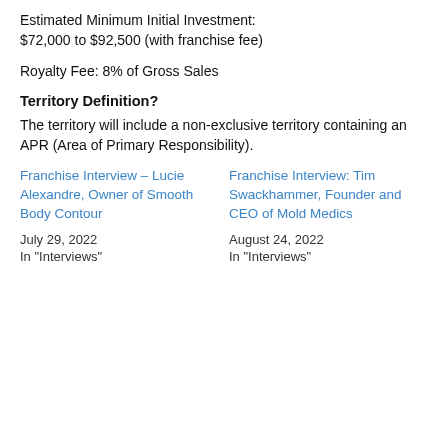Estimated Minimum Initial Investment: $72,000 to $92,500 (with franchise fee)
Royalty Fee: 8% of Gross Sales
Territory Definition?
The territory will include a non-exclusive territory containing an APR (Area of Primary Responsibility).
Franchise Interview – Lucie Alexandre, Owner of Smooth Body Contour
July 29, 2022
In "Interviews"
Franchise Interview: Tim Swackhammer, Founder and CEO of Mold Medics
August 24, 2022
In "Interviews"